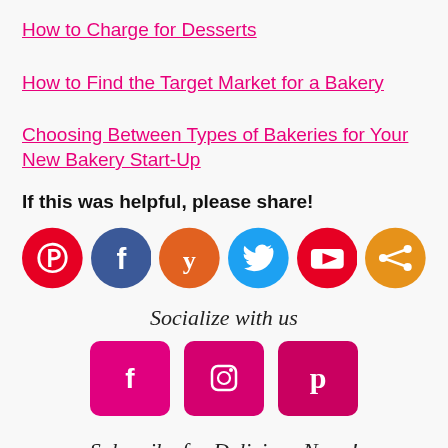How to Charge for Desserts
How to Find the Target Market for a Bakery
Choosing Between Types of Bakeries for Your New Bakery Start-Up
If this was helpful, please share!
[Figure (infographic): Row of 6 social sharing icon circles: Pinterest (red), Facebook (dark blue), Yummly (orange), Twitter (blue), YouTube (red), Share (orange)]
Socialize with us
[Figure (infographic): Three pink/magenta square social media icons: Facebook, Instagram, Pinterest]
Subscribe for Delicious News!
[Figure (other): Text input bar for email subscription]